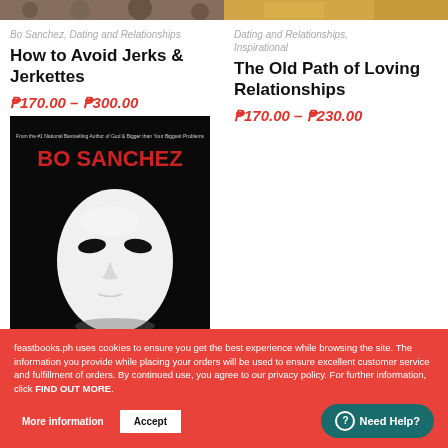[Figure (photo): Top strip showing two partial book cover images side by side]
Bo Sanchez, Dating and Relationships
How to Avoid Jerks & Jerkettes
₱170.00 – ₱300.00
[Figure (photo): Book cover for a Bo Sanchez book featuring a white drama mask on black background with red author name text]
Dating and Relationships, Inspirational
The Old Path of Loving Relationships
₱170.00 – ₱230.00
feastbooks.ph uses cookies to ensure you get the best experience while browsing the site. The information you provide while placing your orders will be used to ensure excellent customer service and fulfillment of orders. By continued use, you agree to our privacy policy. For further information, click FIND OUT MORE.
More information
Accept
Need Help?